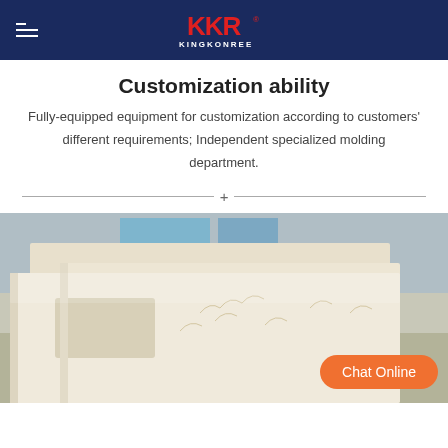KKR KINGKONREE
Customization ability
Fully-equipped equipment for customization according to customers' different requirements; Independent specialized molding department.
[Figure (photo): Factory photo showing rows of glossy cream/white rectangular bathroom or furniture panels with floral patterns, in a manufacturing facility.]
Chat Online